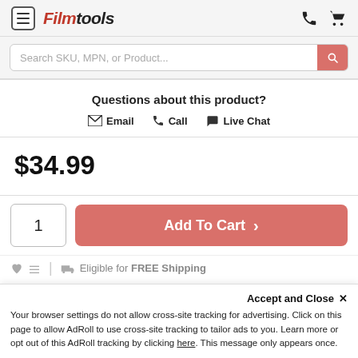Filmtools
Search SKU, MPN, or Product...
Questions about this product?
✉ Email  📞 Call  💬 Live Chat
$34.99
1  Add To Cart >
Eligible for FREE Shipping
Accept and Close ×
Your browser settings do not allow cross-site tracking for advertising. Click on this page to allow AdRoll to use cross-site tracking to tailor ads to you. Learn more or opt out of this AdRoll tracking by clicking here. This message only appears once.